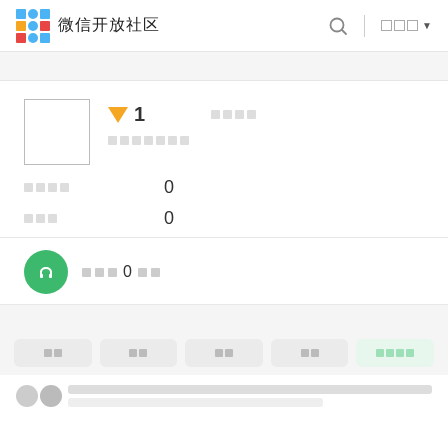微信开放社区
▼1  □□□□  □□□□□□□
□□□□  0
□□□  0
□□□ 0 □□
□□  □□  □□  □□  □□□□